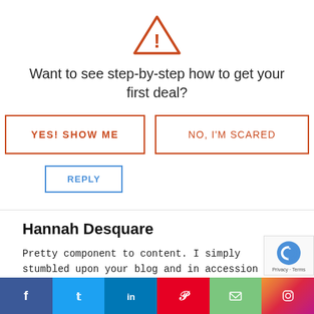[Figure (illustration): Orange warning triangle icon with exclamation mark]
Want to see step-by-step how to get your first deal?
[Figure (other): Two buttons: YES! SHOW ME and NO, I'M SCARED]
REPLY
Hannah Desquare
Pretty component to content. I simply stumbled upon your blog and in accession capital to claim that I get actually loved account your weblog posts. Anyway I'll be subsc for your augment or even I fulfillment you get admiss
[Figure (other): Social share bar with Facebook, Twitter, LinkedIn, Pinterest, Email, Instagram buttons]